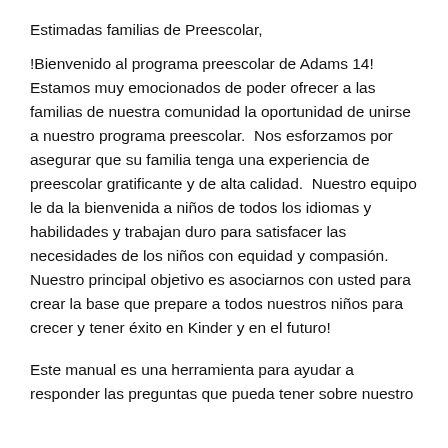Estimadas familias de Preescolar,
!Bienvenido al programa preescolar de Adams 14! Estamos muy emocionados de poder ofrecer a las familias de nuestra comunidad la oportunidad de unirse a nuestro programa preescolar.  Nos esforzamos por asegurar que su familia tenga una experiencia de preescolar gratificante y de alta calidad.  Nuestro equipo le da la bienvenida a niños de todos los idiomas y habilidades y trabajan duro para satisfacer las necesidades de los niños con equidad y compasión. Nuestro principal objetivo es asociarnos con usted para crear la base que prepare a todos nuestros niños para crecer y tener éxito en Kinder y en el futuro!
Este manual es una herramienta para ayudar a responder las preguntas que pueda tener sobre nuestro